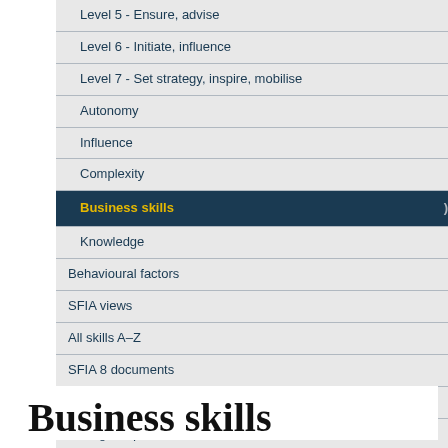Level 5 - Ensure, advise
Level 6 - Initiate, influence
Level 7 - Set strategy, inspire, mobilise
Autonomy
Influence
Complexity
Business skills
Knowledge
Behavioural factors
SFIA views
All skills A–Z
SFIA 8 documents
Themes for SFIA 8
Change requests
SFIA 8 supporters and contributors
Moving to SFIA 8
Business skills